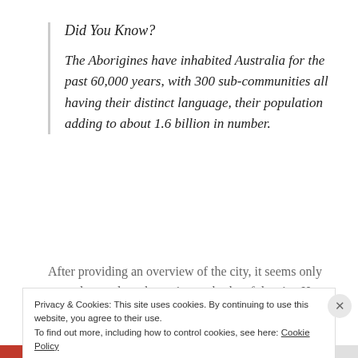Did You Know?
The Aborigines have inhabited Australia for the past 60,000 years, with 300 sub-communities all having their distinct language, their population adding to about 1.6 billion in number.
After providing an overview of the city, it seems only natural to analyse the various suburbs of the city. Here are some must visit parts of the city that are not as
Privacy & Cookies: This site uses cookies. By continuing to use this website, you agree to their use.
To find out more, including how to control cookies, see here: Cookie Policy
Close and accept